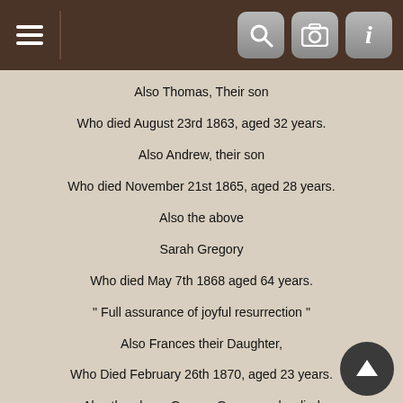Navigation bar with hamburger menu and icons
Also Thomas, Their son
Who died August 23rd 1863, aged 32 years.
Also Andrew, their son
Who died November 21st 1865, aged 28 years.
Also the above
Sarah Gregory
Who died May 7th 1868 aged 64 years.
" Full assurance of joyful resurrection "
Also Frances their Daughter,
Who Died February 26th 1870, aged 23 years.
Also the above George Gregory, who died
August 12th 1873, aged 73 years.
" They rest from their labours "
Also of their daughter, Margaret Birch
Who died April 23th 1879 aged 44 years.
George and Sarah had 12 children as far as is known. Although this narrative will concentrate on one of them, John Gregory, it's interesting to note that Brendan Molloy and his cousin Ann Powell are connected to the Gregory family via Thomas Gregory's daughter Catherine, who married Simon Heavey from Galway, Ireland.
John Gregory was born in Sheffield on 10 May 1826. He ma... Sarah Smith, who was born on 31 August 1827 in Handsworth, Sheffield, on 18 November 1851. John Gregory, aged 24 when he